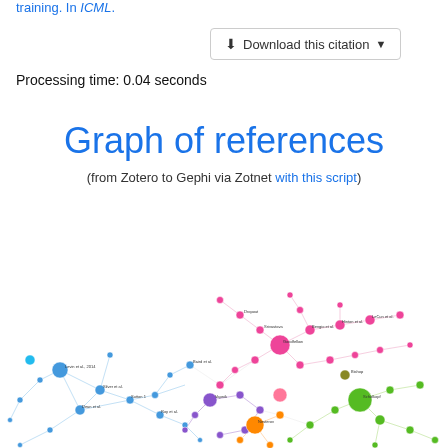training. In ICML.
[Figure (other): Download this citation button]
Processing time: 0.04 seconds
Graph of references
(from Zotero to Gephi via Zotnet with this script)
[Figure (network-graph): A colorful network graph of references showing nodes (papers/authors) connected by edges in multiple colors including blue, pink, green, orange, and purple clusters.]